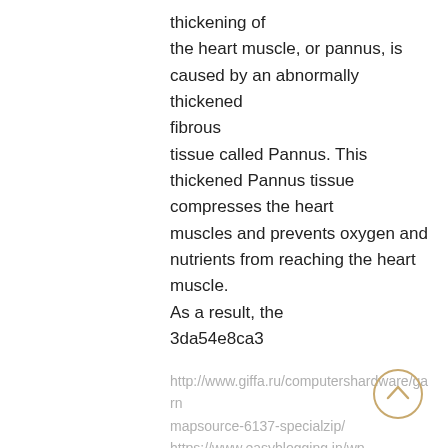thickening of the heart muscle, or pannus, is caused by an abnormally thickened fibrous tissue called Pannus. This thickened Pannus tissue compresses the heart muscles and prevents oxygen and nutrients from reaching the heart muscle. As a result, the 3da54e8ca3
http://www.giffa.ru/computershardware/garn mapsource-6137-specialzip/ https://www.easyblogging.in/wp- content/uploads/2022/06/goldtop___pdf